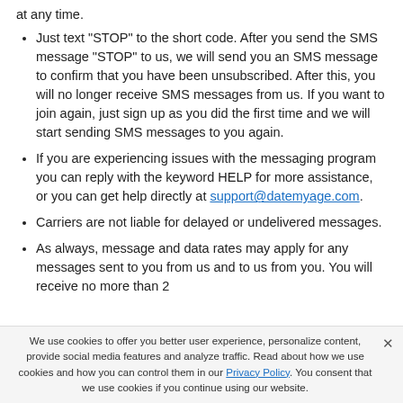at any time.
Just text "STOP" to the short code. After you send the SMS message "STOP" to us, we will send you an SMS message to confirm that you have been unsubscribed. After this, you will no longer receive SMS messages from us. If you want to join again, just sign up as you did the first time and we will start sending SMS messages to you again.
If you are experiencing issues with the messaging program you can reply with the keyword HELP for more assistance, or you can get help directly at support@datemyage.com.
Carriers are not liable for delayed or undelivered messages.
As always, message and data rates may apply for any messages sent to you from us and to us from you. You will receive no more than 2
We use cookies to offer you better user experience, personalize content, provide social media features and analyze traffic. Read about how we use cookies and how you can control them in our Privacy Policy. You consent that we use cookies if you continue using our website.